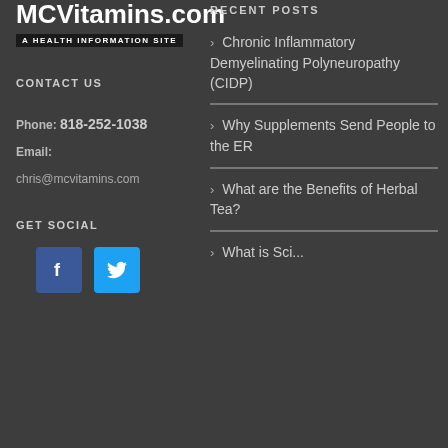[Figure (logo): MCVitamins.com logo with tagline 'A HEALTH INFORMATION SITE']
CONTACT US
Phone: 818-252-1038
Email:
chris@mcvitamins.com
GET SOCIAL
[Figure (illustration): Facebook and Twitter social media icon buttons]
RECENT POSTS
Chronic Inflammatory Demyelinating Polyneuropathy (CIDP)
Why Supplements Send People to the ER
What are the Benefits of Herbal Tea?
What is Sci...